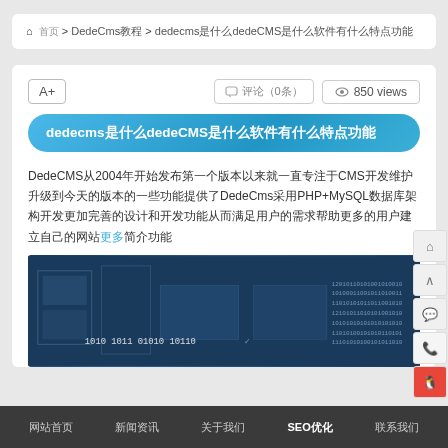⌂ 首页 > DedeCms教程 > dedecms是什么dedeCMS是什么软件有什么特点功能
A+
💬 评论（0条）   👁 850 views
dedecms是什么dedeCMS是什么软件有什么特点功能
DedeCMS从2004年开始发布第一个版本以来就一直专注于CMS开发维护升级到今天的版本的一些功能提供了DedeCms采用PHP+MySQL数据库架构开发更加完善的设计和开发功能从而满足用户的需求帮助更多的用户建立自己的网站
[Figure (photo): Technology themed image with binary code text on dark blue background]
网站首页   新闻资讯   关于我们   SEO优化   联系我们